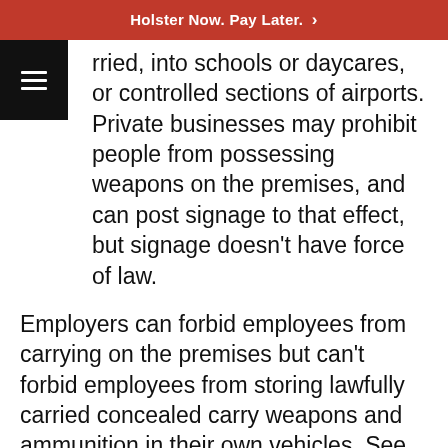Holster Now. Pay Later. ›
rried, into schools or daycares, or controlled sections of airports. Private businesses may prohibit people from possessing weapons on the premises, and can post signage to that effect, but signage doesn't have force of law.
Employers can forbid employees from carrying on the premises but can't forbid employees from storing lawfully carried concealed carry weapons and ammunition in their own vehicles. See more from the Kentucky State Police and the relevant Kentucky statutes for more information.